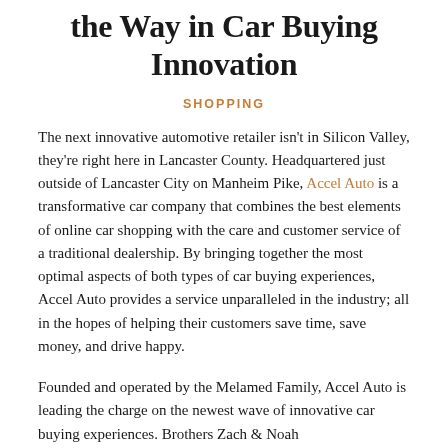the Way in Car Buying Innovation
SHOPPING
The next innovative automotive retailer isn't in Silicon Valley, they're right here in Lancaster County. Headquartered just outside of Lancaster City on Manheim Pike, Accel Auto is a transformative car company that combines the best elements of online car shopping with the care and customer service of a traditional dealership. By bringing together the most optimal aspects of both types of car buying experiences, Accel Auto provides a service unparalleled in the industry; all in the hopes of helping their customers save time, save money, and drive happy.
Founded and operated by the Melamed Family, Accel Auto is leading the charge on the newest wave of innovative car buying experiences. Brothers Zach & Noah